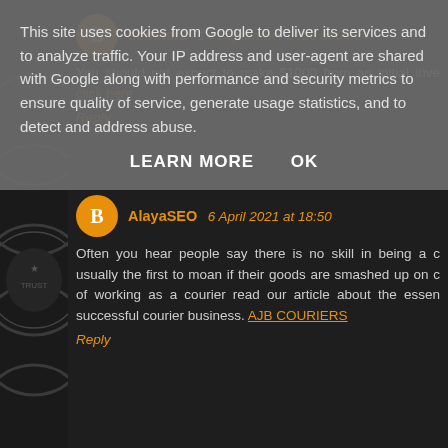This site uses cookies from Google to deliver its services and to analyze traffic. Your IP address and user-agent are shared with Google along with performance and security metrics to ensure quality of service, generate usage statistics, and to detect and address abuse.
LEARN MORE    OK
seostar2  14 September 2020 at 06:24
You should not expect to make $1000 from an initial inve... click here
Reply
AlayaSEO  6 April 2021 at 18:50
Often you hear people say there is no skill in being a c... usually the first to moan if their goods are smashed up on d... of working as a courier read our article about the essen... successful courier business. AJB COURIERS
Reply